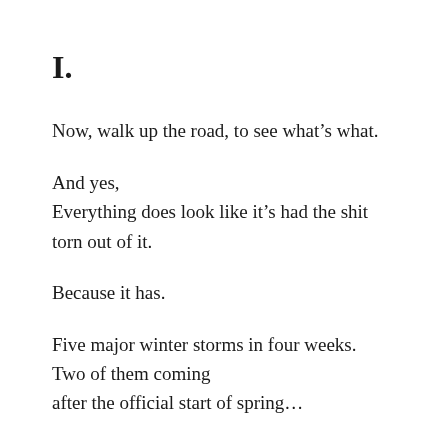I.
Now, walk up the road, to see what's what.
And yes,
Everything does look like it's had the shit torn out of it.
Because it has.
Five major winter storms in four weeks.
Two of them coming
after the official start of spring...